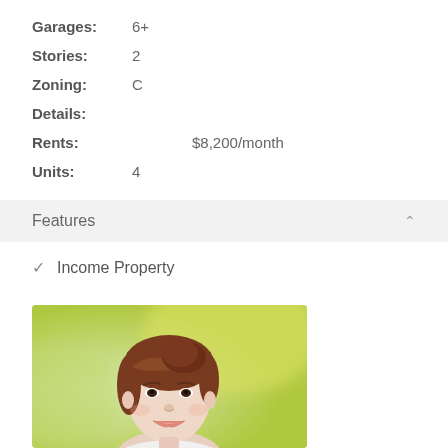Garages: 6+
Stories: 2
Zoning: C
Details:
Rents: $8,200/month
Units: 4
Features
✓ Income Property
[Figure (photo): Portrait photo of a smiling young woman with brown hair against a green blurred background]